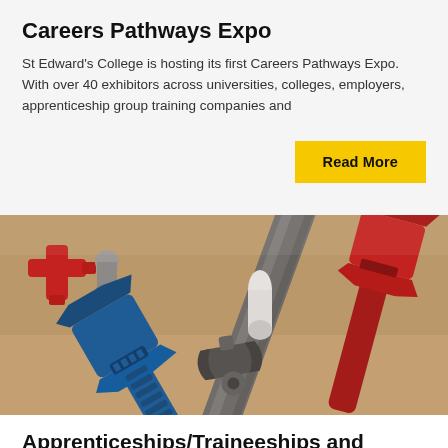Careers Pathways Expo
St Edward's College is hosting its first Careers Pathways Expo. With over 40 exhibitors across universities, colleges, employers, apprenticeship group training companies and
Read More
[Figure (photo): Close-up photo of plumbing tools including blue and red pipe wrenches and metal pipes on a surface]
Apprenticeships/Traineeships and